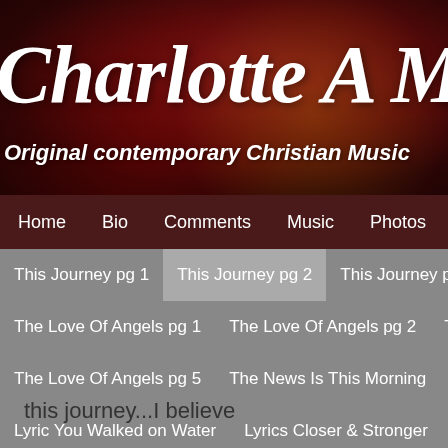Charlotte A Marti…
Original contemporary Christian Music
Home | Bio | Comments | Music | Photos | Conta…
This Journey pg 1
This Journey pg 2
This Journey pg…
The Love Of Angels pg 1
The Love Of Angels pg 2
Th…
The Love Of Angels pg 5
The News Is This Morning
C…
Lyric You Walked on Water
Lyrics Closer & Stronger
L…
this journey...I believe